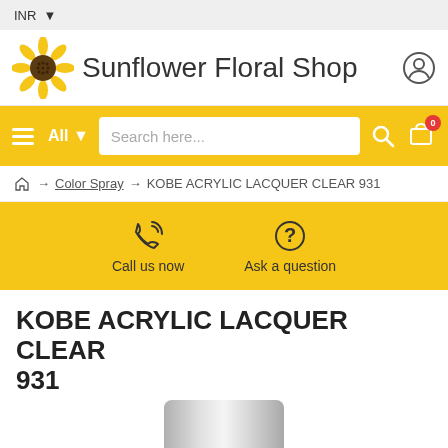INR ▾
Sunflower Floral Shop
[Figure (screenshot): Search navigation bar with hamburger menu, All dropdown, search input field, search icon and cart icon with badge 0]
🏠 → Color Spray → KOBE ACRYLIC LACQUER CLEAR 931
[Figure (infographic): Yellow action bar with Call us now (phone icon) and Ask a question (question mark icon)]
KOBE ACRYLIC LACQUER CLEAR 931
[Figure (photo): Bottom portion of a silver/grey aerosol spray can product image]